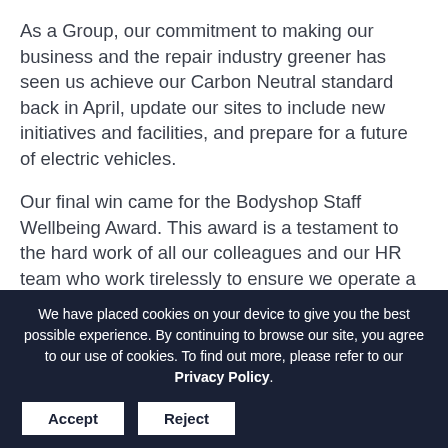As a Group, our commitment to making our business and the repair industry greener has seen us achieve our Carbon Neutral standard back in April, update our sites to include new initiatives and facilities, and prepare for a future of electric vehicles.
Our final win came for the Bodyshop Staff Wellbeing Award. This award is a testament to the hard work of all our colleagues and our HR team who work tirelessly to ensure we operate a positive and inclusive environment and provide excellent benefits to our employees to promote mental health and wellbeing.
We have placed cookies on your device to give you the best possible experience. By continuing to browse our site, you agree to our use of cookies. To find out more, please refer to our Privacy Policy. [Accept] [Reject]